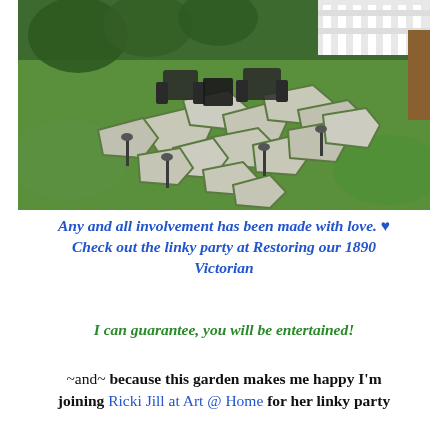[Figure (photo): Outdoor flagstone patio with irregular stone pavers separated by grass, garden path lights, and wrought iron patio furniture (chairs and table) surrounded by green lawn and trees in background.]
Any and all involvement has been made with love. ♥ Check out the linky party at Restoring our 1890 Victorian
I can guarantee, you will be entertained!
~and~ because this garden makes me happy I'm joining Ricki Jill at Art @ Home for her linky party